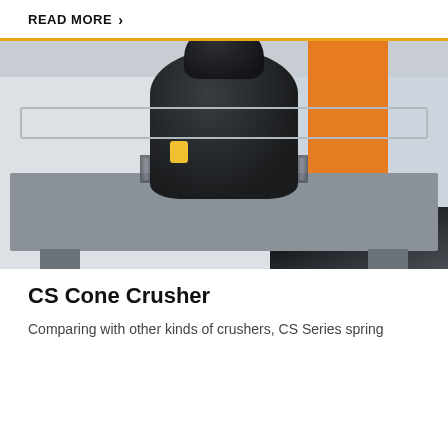READ MORE ›
[Figure (photo): Large CS Cone Crusher machine (black) mounted on a grey metal platform with railings, inside an industrial factory/warehouse. An orange overhead crane beam is visible in the upper right. The machine features visible spring coils and a domed top.]
CS Cone Crusher
Comparing with other kinds of crushers, CS Series spring